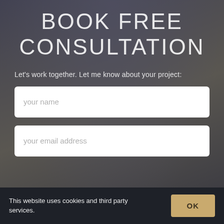BOOK FREE CONSULTATION
Let's work together. Let me know about your project:
your name
your email address
This website uses cookies and third party services.